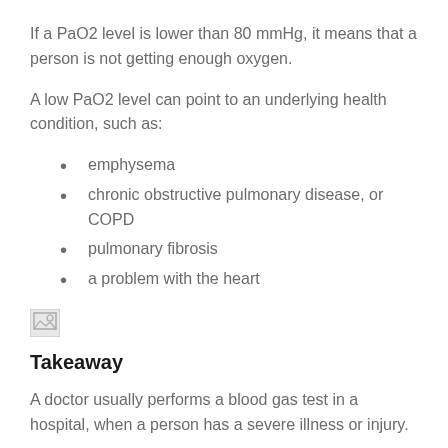If a PaO2 level is lower than 80 mmHg, it means that a person is not getting enough oxygen.
A low PaO2 level can point to an underlying health condition, such as:
emphysema
chronic obstructive pulmonary disease, or COPD
pulmonary fibrosis
a problem with the heart
[Figure (photo): Broken image placeholder]
Takeaway
A doctor usually performs a blood gas test in a hospital, when a person has a severe illness or injury.
The doctor will draw blood from an artery in the wrist to